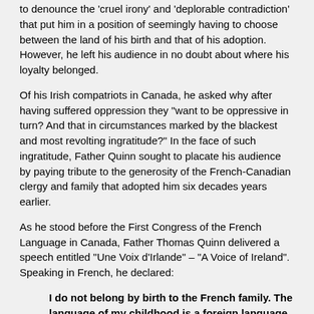to denounce the 'cruel irony' and 'deplorable contradiction' that put him in a position of seemingly having to choose between the land of his birth and that of his adoption. However, he left his audience in no doubt about where his loyalty belonged.
Of his Irish compatriots in Canada, he asked why after having suffered oppression they "want to be oppressive in turn? And that in circumstances marked by the blackest and most revolting ingratitude?" In the face of such ingratitude, Father Quinn sought to placate his audience by paying tribute to the generosity of the French-Canadian clergy and family that adopted him six decades years earlier.
As he stood before the First Congress of the French Language in Canada, Father Thomas Quinn delivered a speech entitled "Une Voix d'Irlande" – "A Voice of Ireland". Speaking in French, he declared:
I do not belong by birth to the French family. The language of my childhood is a foreign language, and if I am afforded the great honor to speak before this patriotic gathering, then it is as an adopted child and son of Ireland.
But, ladies and gentlemen, the adoption was a